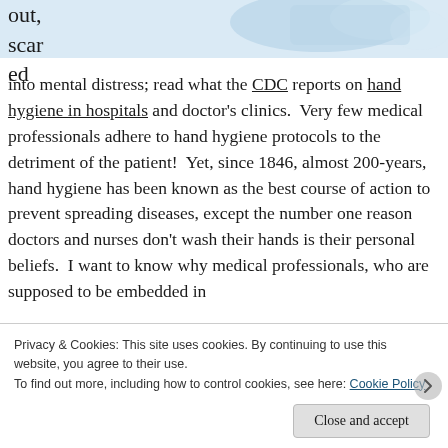[Figure (photo): Partial image of medical/hygiene related photo, cropped at top of page]
out, scar ed
into mental distress; read what the CDC reports on hand hygiene in hospitals and doctor's clinics.  Very few medical professionals adhere to hand hygiene protocols to the detriment of the patient!  Yet, since 1846, almost 200-years, hand hygiene has been known as the best course of action to prevent spreading diseases, except the number one reason doctors and nurses don't wash their hands is their personal beliefs.  I want to know why medical professionals, who are supposed to be embedded in
Privacy & Cookies: This site uses cookies. By continuing to use this website, you agree to their use.
To find out more, including how to control cookies, see here: Cookie Policy
Close and accept